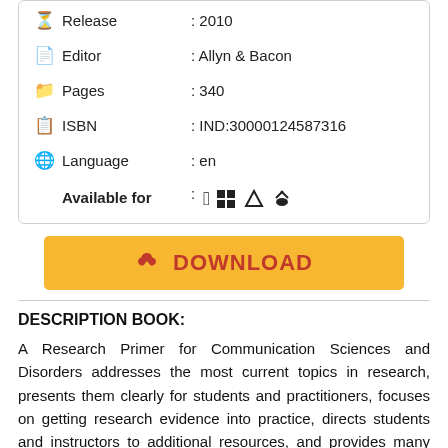Release : 2010
Editor : Allyn & Bacon
Pages : 340
ISBN : IND:30000124587316
Language : en
Available for : [Apple] [Windows] [Linux] [Android]
[Figure (other): Yellow download button with cloud/download icon and red text 'DOWNLOAD']
DESCRIPTION BOOK:
A Research Primer for Communication Sciences and Disorders addresses the most current topics in research, presents them clearly for students and practitioners, focuses on getting research evidence into practice, directs students and instructors to additional resources, and provides many case examples and study questions